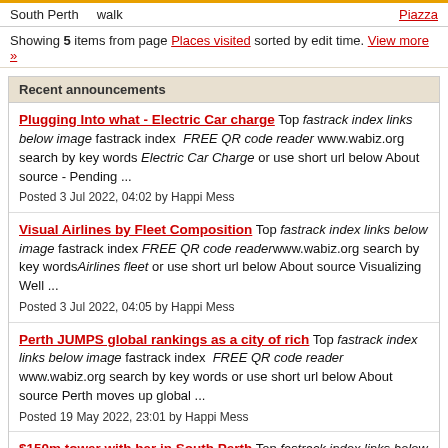South Perth   walk   Piazza
Showing 5 items from page Places visited sorted by edit time. View more »
Recent announcements
Plugging Into what - Electric Car charge Top fastrack index links below image fastrack index  FREE QR code reader www.wabiz.org search by key words Electric Car Charge or use short url below About source - Pending ...
Posted 3 Jul 2022, 04:02 by Happi Mess
Visual Airlines by Fleet Composition Top fastrack index links below image fastrack index FREE QR code readerwww.wabiz.org search by key wordsAirlines fleet or use short url below About source Visualizing Well ...
Posted 3 Jul 2022, 04:05 by Happi Mess
Perth JUMPS global rankings as a city of rich Top fastrack index links below image fastrack index  FREE QR code reader www.wabiz.org search by key words or use short url below About source Perth moves up global ...
Posted 19 May 2022, 23:01 by Happi Mess
$150m tower with bar in South Perth Top fastrack index links below image fastrack index  FREE QR code reader www.wabiz.org search